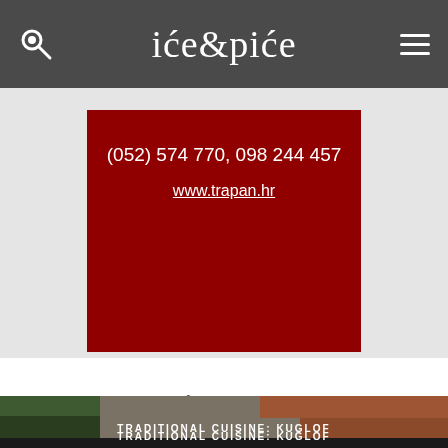iće&piće
(052) 574 770, 098 244 457
www.trapan.hr
Read more articles from issue 22, December 2010
[Figure (photo): Exterior of a traditional building with stone walls, tiled roofs and trees, with caption TRADITIONAL CUISINE: KUGLOF]